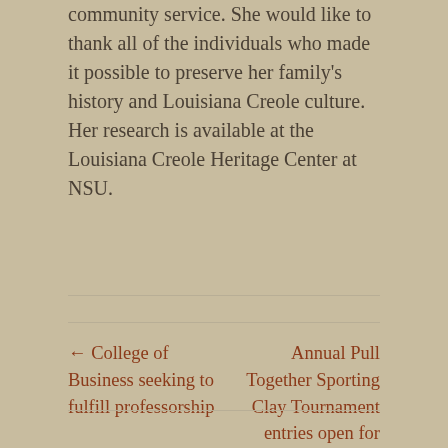community service. She would like to thank all of the individuals who made it possible to preserve her family's history and Louisiana Creole culture. Her research is available at the Louisiana Creole Heritage Center at NSU.
← College of Business seeking to fulfill professorship
Annual Pull Together Sporting Clay Tournament entries open for June 17 event in Natchitoches →